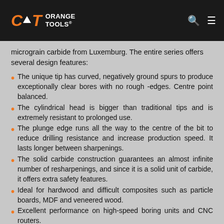CMT ORANGE TOOLS
micrograin carbide from Luxemburg. The entire series offers several design features:
The unique tip has curved, negatively ground spurs to produce exceptionally clear bores with no rough -edges. Centre point balanced.
The cylindrical head is bigger than traditional tips and is extremely resistant to prolonged use.
The plunge edge runs all the way to the centre of the bit to reduce drilling resistance and increase production speed. It lasts longer between sharpenings.
The solid carbide construction guarantees an almost infinite number of resharpenings, and since it is a solid unit of carbide, it offers extra safety features.
Ideal for hardwood and difficult composites such as particle boards, MDF and veneered wood.
Excellent performance on high-speed boring units and CNC routers.